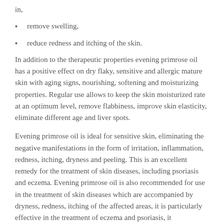in,
remove swelling,
reduce redness and itching of the skin.
In addition to the therapeutic properties evening primrose oil has a positive effect on dry flaky, sensitive and allergic mature skin with aging signs, nourishing, softening and moisturizing properties. Regular use allows to keep the skin moisturized rate at an optimum level, remove flabbiness, improve skin elasticity, eliminate different age and liver spots.
Evening primrose oil is ideal for sensitive skin, eliminating the negative manifestations in the form of irritation, inflammation, redness, itching, dryness and peeling. This is an excellent remedy for the treatment of skin diseases, including psoriasis and eczema. Evening primrose oil is also recommended for use in the treatment of skin diseases which are accompanied by dryness, redness, itching of the affected areas, it is particularly effective in the treatment of eczema and psoriasis, it instantaneously eliminates unpleasant symptoms of itching and redness.